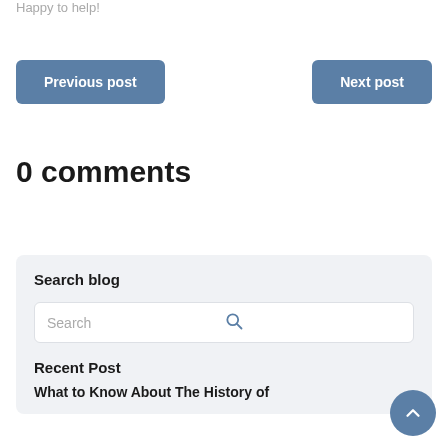Happy to help!
Previous post
Next post
0 comments
Search blog
Search
Recent Post
What to Know About The History of